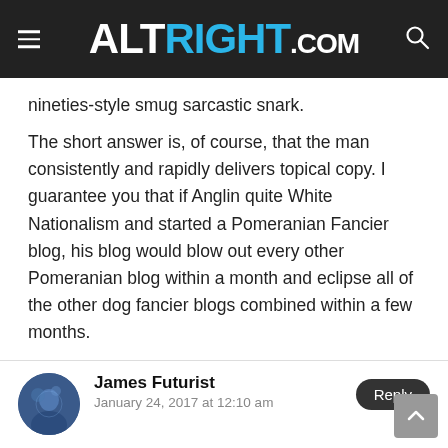ALTRIGHT.COM
nineties-style smug sarcastic snark.
The short answer is, of course, that the man consistently and rapidly delivers topical copy. I guarantee you that if Anglin quite White Nationalism and started a Pomeranian Fancier blog, his blog would blow out every other Pomeranian blog within a month and eclipse all of the other dog fancier blogs combined within a few months.
James Futurist
January 24, 2017 at 12:10 am
It just doesn't make sense to me that